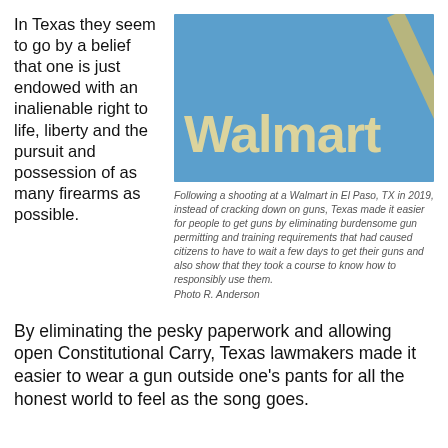In Texas they seem to go by a belief that one is just endowed with an inalienable right to life, liberty and the pursuit and possession of as many firearms as possible.
[Figure (photo): Close-up photo of a blue Walmart sign with the Walmart logo in gold/tan lettering and a diagonal bar element.]
Following a shooting at a Walmart in El Paso, TX in 2019, instead of cracking down on guns, Texas made it easier for people to get guns by eliminating burdensome gun permitting and training requirements that had caused citizens to have to wait a few days to get their guns and also show that they took a course to know how to responsibly use them. Photo R. Anderson
By eliminating the pesky paperwork and allowing open Constitutional Carry, Texas lawmakers made it easier to wear a gun outside one's pants for all the honest world to feel as the song goes.